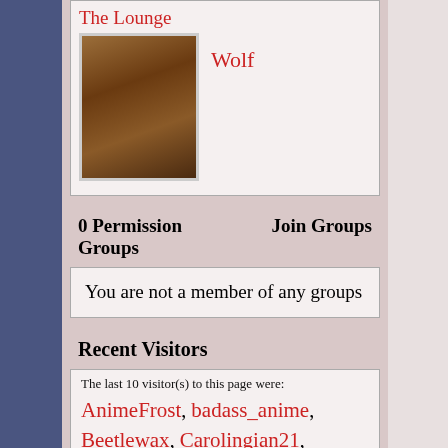The Lounge
[Figure (photo): Photo of a werewolf / wolf creature with an open snarling mouth, brown fur]
Wolf
0 Permission Groups    Join Groups
You are not a member of any groups
Recent Visitors
The last 10 visitor(s) to this page were: AnimeFrost, badass_anime, Beetlewax, Carolingian21, Digimon__Sommelier, Matea2306, Nephthys, Porcelaine, Saracin, vrarsenal
This page has had 109,202 visits